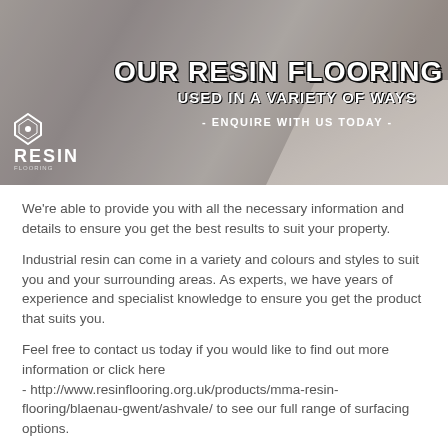[Figure (illustration): Banner image with resin flooring background texture (beige/grey tones), large bold white text reading 'OUR RESIN FLOORING IS USED IN A VARIETY OF WAYS', subtext '- ENQUIRE WITH US TODAY -', and a Resin logo with diamond icon in the bottom left.]
We're able to provide you with all the necessary information and details to ensure you get the best results to suit your property.
Industrial resin can come in a variety and colours and styles to suit you and your surrounding areas. As experts, we have years of experience and specialist knowledge to ensure you get the product that suits you.
Feel free to contact us today if you would like to find out more information or click here
- http://www.resinflooring.org.uk/products/mma-resin-flooring/blaenau-gwent/ashvale/ to see our full range of surfacing options.